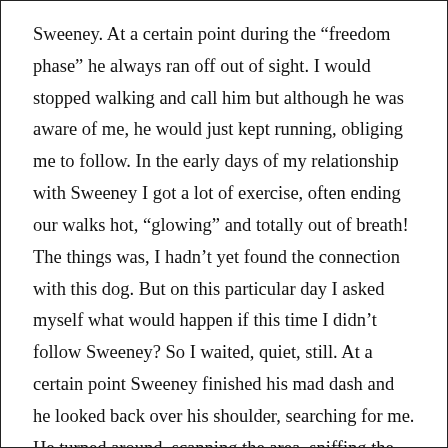Sweeney. At a certain point during the “freedom phase” he always ran off out of sight. I would stopped walking and call him but although he was aware of me, he would just kept running, obliging me to follow. In the early days of my relationship with Sweeney I got a lot of exercise, often ending our walks hot, “glowing” and totally out of breath! The things was, I hadn’t yet found the connection with this dog. But on this particular day I asked myself what would happen if this time I didn’t follow Sweeney? So I waited, quiet, still. At a certain point Sweeney finished his mad dash and he looked back over his shoulder, searching for me. He turned around, scanning the area, sniffing the air. Suddenly he sensed me, pointed his nose in my direction, jumped forward and started rocketing back